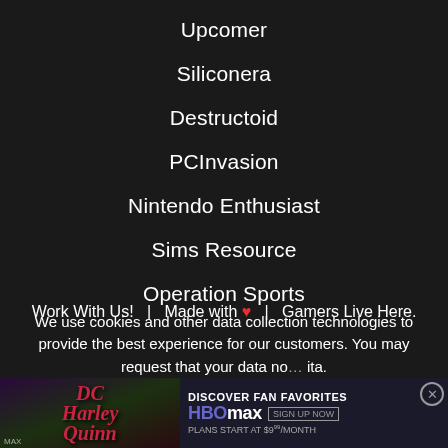Upcomer
Siliconera
Destructoid
PCInvasion
Nintendo Enthusiast
Sims Resource
Operation Sports
Work With Us!  |  Made with ♥  |  Gamers Live Here.
We use cookies and other data collection technologies to provide the best experience for our customers. You may request that your data no... ita.
[Figure (screenshot): HBO Max advertisement banner showing 'Discover Fan Favorites', HBO Max logo, Sign Up Now button, Plans Start at $9.99/month, overlaid on a DC comic characters image. Close button visible. Partially overlaps Madden/gaming content on left.]